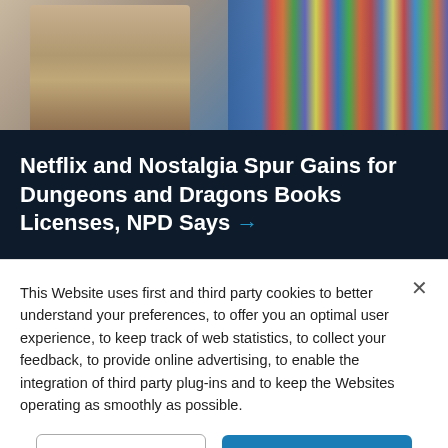[Figure (photo): Person in tan jacket holding papers/book in front of colorful bookshelf]
Netflix and Nostalgia Spur Gains for Dungeons and Dragons Books Licenses, NPD Says →
This Website uses first and third party cookies to better understand your preferences, to offer you an optimal user experience, to keep track of web statistics, to collect your feedback, to provide online advertising, to enable the integration of third party plug-ins and to keep the Websites operating as smoothly as possible.
Cookies Settings
Accept All Cookies